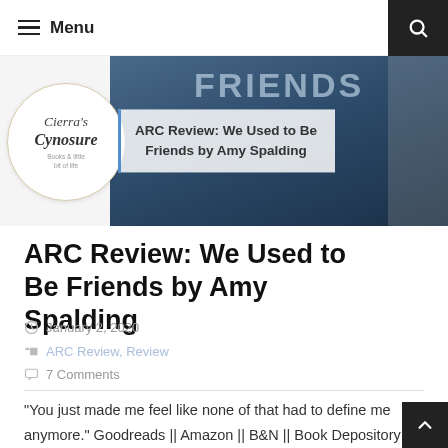Menu
[Figure (illustration): Blog header banner with Cierra's Cynosure logo (circular floral wreath design) on left, and a book cover photo with overlay ribbon showing 'ARC Review: We Used to Be Friends by Amy Spalding']
ARC Review: We Used to Be Friends by Amy Spalding
January 2, 2020
ARC Review, Review
7 Comments
"You just made me feel like none of that had to define me anymore." Goodreads || Amazon || B&N || Book Depository Notice: I requested and was approved to receive an eARC of We